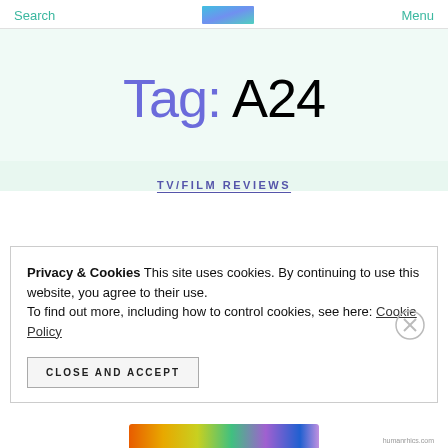Search  Menu
Tag: A24
TV/FILM REVIEWS
Privacy & Cookies This site uses cookies. By continuing to use this website, you agree to their use.
To find out more, including how to control cookies, see here: Cookie Policy
CLOSE AND ACCEPT